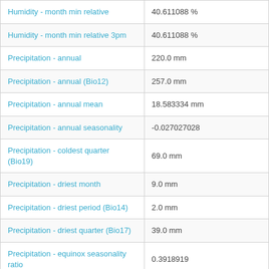| Parameter | Value |
| --- | --- |
| Humidity - month min relative | 40.611088 % |
| Humidity - month min relative 3pm | 40.611088 % |
| Precipitation - annual | 220.0 mm |
| Precipitation - annual (Bio12) | 257.0 mm |
| Precipitation - annual mean | 18.583334 mm |
| Precipitation - annual seasonality | -0.027027028 |
| Precipitation - coldest quarter (Bio19) | 69.0 mm |
| Precipitation - driest month | 9.0 mm |
| Precipitation - driest period (Bio14) | 2.0 mm |
| Precipitation - driest quarter (Bio17) | 39.0 mm |
| Precipitation - equinox seasonality ratio | 0.3918919 |